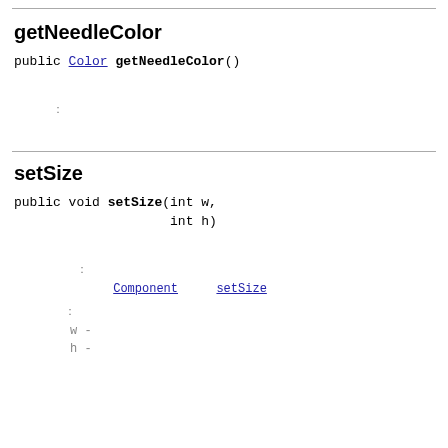getNeedleColor
public Color getNeedleColor()
[redacted description]
[redacted label]: [redacted value]
setSize
public void setSize(int w,
                    int h)
[redacted description]
[redacted label]: [redacted] Component [redacted] setSize
[redacted label]:
w - [redacted]
h - [redacted]